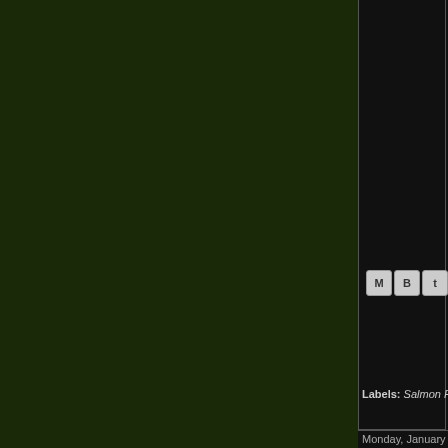[Figure (photo): Dark green background panel occupying the left portion of the page, appearing to be the main content area of a blog post with a dark olive/forest green color.]
[Figure (screenshot): Share/social media icon buttons partially visible at bottom right - showing Gmail (M), Blogger (B), and Twitter (t) share icons in small rounded square buttons.]
Labels: Salmon Flies
Monday, January 2